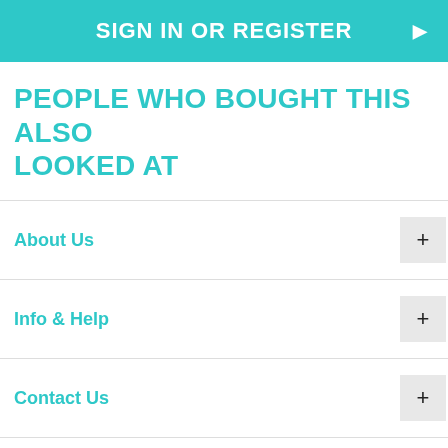SIGN IN OR REGISTER
PEOPLE WHO BOUGHT THIS ALSO LOOKED AT
About Us
Info & Help
Contact Us
Security